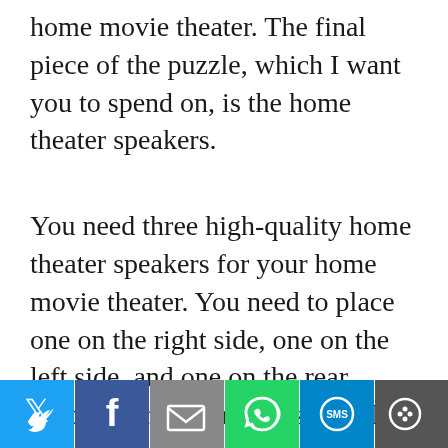home movie theater. The final piece of the puzzle, which I want you to spend on, is the home theater speakers.
You need three high-quality home theater speakers for your home movie theater. You need to place one on the right side, one on the left side, and one on the rear center of the room. These are the three basic components of your home movie
Este sitio web utiliza cookies para mejorar su experiencia. Asumiremos que está de acuerdo con esto, pero puede
[Figure (infographic): Social sharing bar with Twitter, Facebook, Email, WhatsApp, SMS, and More buttons]